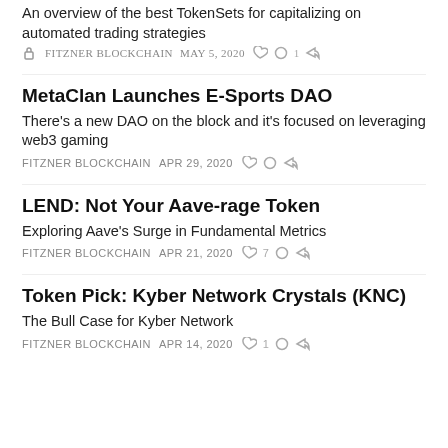An overview of the best TokenSets for capitalizing on automated trading strategies
FITZNER BLOCKCHAIN   MAY 5, 2020   ♡   ○ 1   ↗
MetaClan Launches E-Sports DAO
There's a new DAO on the block and it's focused on leveraging web3 gaming
FITZNER BLOCKCHAIN   APR 29, 2020   ♡   ○   ↗
LEND: Not Your Aave-rage Token
Exploring Aave's Surge in Fundamental Metrics
FITZNER BLOCKCHAIN   APR 21, 2020   ♡ 7   ○   ↗
Token Pick: Kyber Network Crystals (KNC)
The Bull Case for Kyber Network
FITZNER BLOCKCHAIN   APR 14, 2020   ♡ 1   ○   ↗